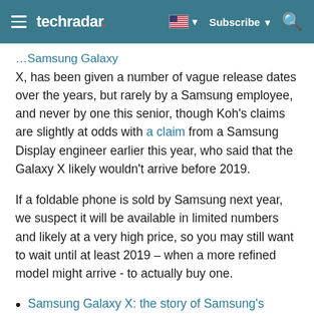techradar | Subscribe | Search
X, has been given a number of vague release dates over the years, but rarely by a Samsung employee, and never by one this senior, though Koh's claims are slightly at odds with a claim from a Samsung Display engineer earlier this year, who said that the Galaxy X likely wouldn't arrive before 2019.
If a foldable phone is sold by Samsung next year, we suspect it will be available in limited numbers and likely at a very high price, so you may still want to wait until at least 2019 – when a more refined model might arrive - to actually buy one.
Samsung Galaxy X: the story of Samsung's foldable phone so far